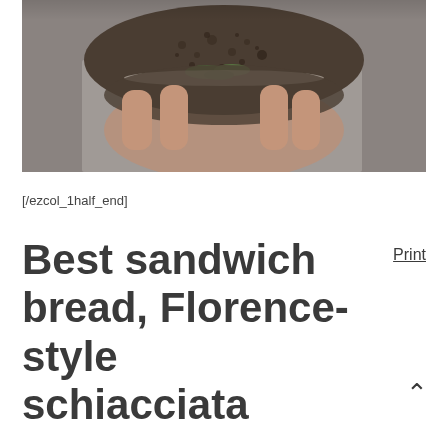[Figure (photo): Close-up photo of a hand holding a sandwich made with dark, porous artisan bread with green leaves and filling visible inside, shot against a blurred grey background.]
[/ezcol_1half_end]
Best sandwich bread, Florence-style schiacciata
Print